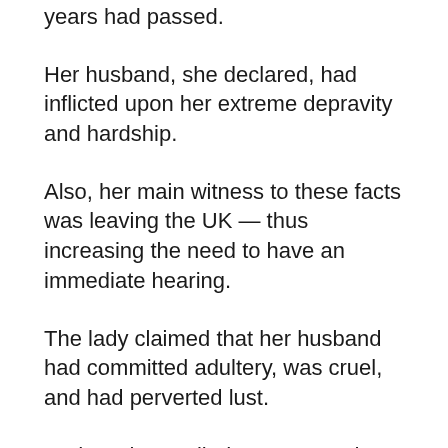years had passed.
Her husband, she declared, had inflicted upon her extreme depravity and hardship.
Also, her main witness to these facts was leaving the UK — thus increasing the need to have an immediate hearing.
The lady claimed that her husband had committed adultery, was cruel, and had perverted lust.
And so she applied to court, and was granted an exception to the 3 year rule.